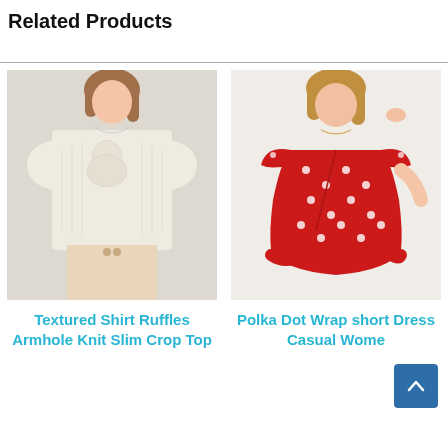Related Products
[Figure (photo): Photo of a woman wearing a white textured shirt with ruffle armhole detail and knit slim crop top design, with beige trousers]
Textured Shirt Ruffles Armhole Knit Slim Crop Top
[Figure (photo): Photo of a woman wearing a red polka dot wrap short dress with flutter sleeves and ruffle hem, casual women's style]
Polka Dot Wrap short Dress Casual Wome